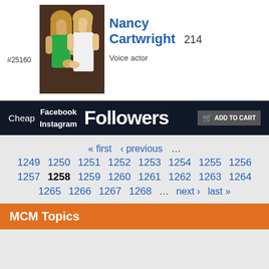#25160
[Figure (photo): Two women posing together, one in a green dress and one in a white dress]
Nancy Cartwright
214
Voice actor
[Figure (infographic): Advertisement banner: Cheap Facebook Instagram Followers - ADD TO CART]
« first  ‹ previous  ...
1249  1250  1251  1252  1253  1254  1255  1256
1257  1258  1259  1260  1261  1262  1263  1264
1265  1266  1267  1268  ...  next ›  last »
MCM Topics